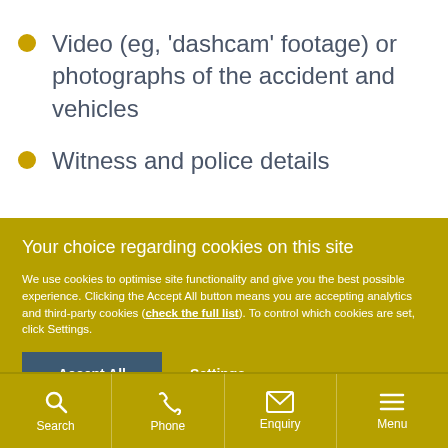Video (eg, ‘dashcam’ footage) or photographs of the accident and vehicles
Witness and police details
Your choice regarding cookies on this site
We use cookies to optimise site functionality and give you the best possible experience. Clicking the Accept All button means you are accepting analytics and third-party cookies (check the full list). To control which cookies are set, click Settings.
Accept All
Settings
Search | Phone | Enquiry | Menu